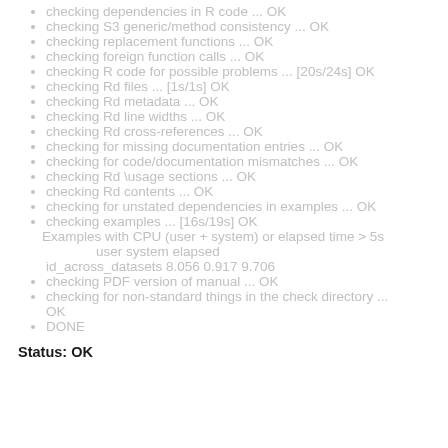checking dependencies in R code ... OK
checking S3 generic/method consistency ... OK
checking replacement functions ... OK
checking foreign function calls ... OK
checking R code for possible problems ... [20s/24s] OK
checking Rd files ... [1s/1s] OK
checking Rd metadata ... OK
checking Rd line widths ... OK
checking Rd cross-references ... OK
checking for missing documentation entries ... OK
checking for code/documentation mismatches ... OK
checking Rd \usage sections ... OK
checking Rd contents ... OK
checking for unstated dependencies in examples ... OK
checking examples ... [16s/19s] OK
Examples with CPU (user + system) or elapsed time > 5s
               user system elapsed
id_across_datasets 8.056 0.917 9.706
checking PDF version of manual ... OK
checking for non-standard things in the check directory ... OK
DONE
Status: OK